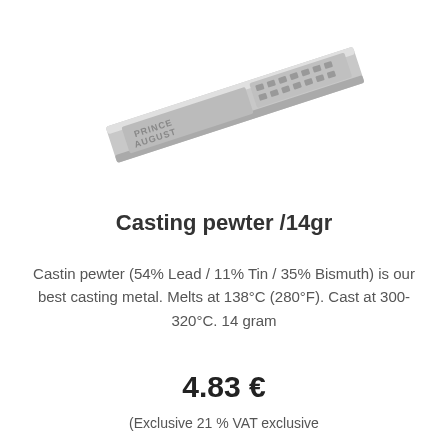[Figure (photo): A metal casting pewter bar/strip with 'PRINCE AUGUST' embossed text, shown at an angle on a white background]
Casting pewter /14gr
Castin pewter (54% Lead / 11% Tin / 35% Bismuth) is our best casting metal. Melts at 138°C (280°F). Cast at 300-320°C. 14 gram
4.83 €
(Exclusive 21 % VAT exclusive